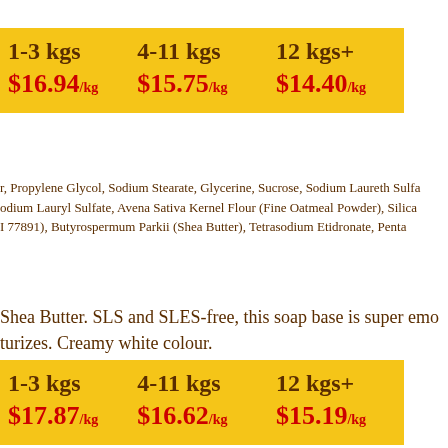| 1-3 kgs | 4-11 kgs | 12 kgs+ |
| --- | --- | --- |
| $16.94/kg | $15.75/kg | $14.40/kg |
r, Propylene Glycol, Sodium Stearate, Glycerine, Sucrose, Sodium Laureth Sulfa, odium Lauryl Sulfate, Avena Sativa Kernel Flour (Fine Oatmeal Powder), Silica, I 77891), Butyrospermum Parkii (Shea Butter), Tetrasodium Etidronate, Penta
Shea Butter. SLS and SLES-free, this soap base is super emo turizes. Creamy white colour.
| 1-3 kgs | 4-11 kgs | 12 kgs+ |
| --- | --- | --- |
| $17.87/kg | $16.62/kg | $15.19/kg |